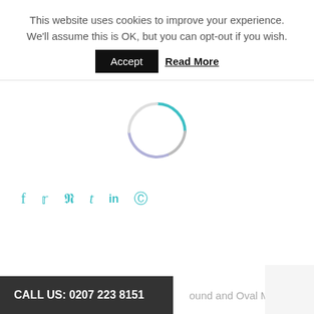This website uses cookies to improve your experience. We'll assume this is OK, but you can opt-out if you wish.
Accept   Read More
[Figure (other): Circular loading spinner with teal top-left arc and light purple bottom arc]
f  Twitter  Pinterest  Tumblr  in  Reddit (social share icons in teal)
CALL US: 0207 223 8151
ound and Oval Mirrors,